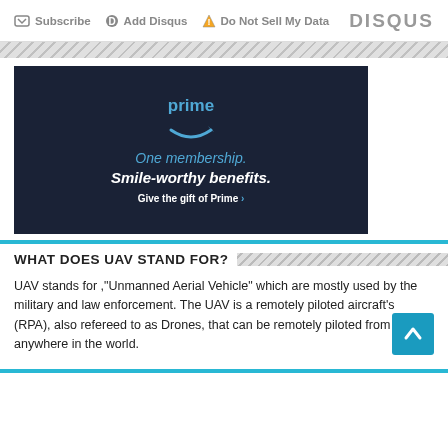Subscribe  Add Disqus  Do Not Sell My Data  DISQUS
[Figure (illustration): Amazon Prime advertisement: 'prime' logo with smile arrow, text 'One membership. Smile-worthy benefits. Give the gift of Prime ›' on dark navy background]
WHAT DOES UAV STAND FOR?
UAV stands for ,"Unmanned Aerial Vehicle" which are mostly used by the military and law enforcement. The UAV is a remotely piloted aircraft's (RPA), also refereed to as Drones, that can be remotely piloted from anywhere in the world.